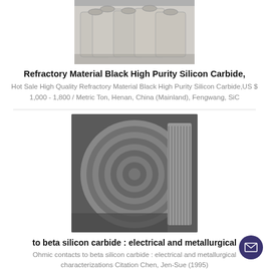[Figure (photo): Photo of white bagged refractory material products stacked together]
Refractory Material Black High Purity Silicon Carbide,
Hot Sale High Quality Refractory Material Black High Purity Silicon Carbide,US $ 1,000 - 1,800 / Metric Ton, Henan, China (Mainland), Fengwang, SiC
[Figure (photo): Photo of a large metallic coil roll, silver/gray colored, showing spiral windings]
to beta silicon carbide : electrical and metallurgical
Ohmic contacts to beta silicon carbide : electrical and metallurgical characterizations Citation Chen, Jen-Sue (1995)